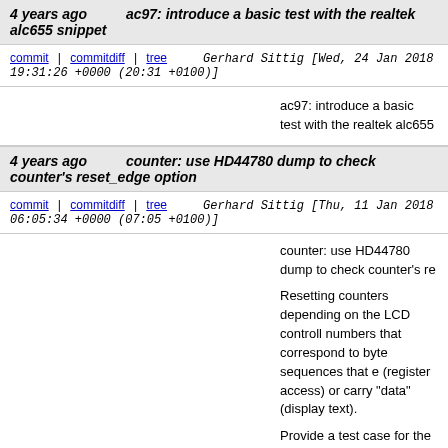4 years ago   ac97: introduce a basic test with the realtek alc655 snippet
commit | commitdiff | tree   Gerhard Sittig [Wed, 24 Jan 2018 19:31:26 +0000 (20:31 +0100)]
ac97: introduce a basic test with the realtek alc655
4 years ago   counter: use HD44780 dump to check counter's reset_edge option
commit | commitdiff | tree   Gerhard Sittig [Thu, 11 Jan 2018 06:05:34 +0000 (07:05 +0100)]
counter: use HD44780 dump to check counter's re...

Resetting counters depending on the LCD controller numbers that correspond to byte sequences that e (register access) or carry "data" (display text).

Provide a test case for the rising edge of RESET. covered the falling edge of RESET which is the de
4 years ago   counter: adjust test config for renamed 'data_edge' option
commit | commitdiff | tree   Gerhard Sittig [Sat, 6 Jan 2018 10:12:52 +0000 (11:12 +0100)]